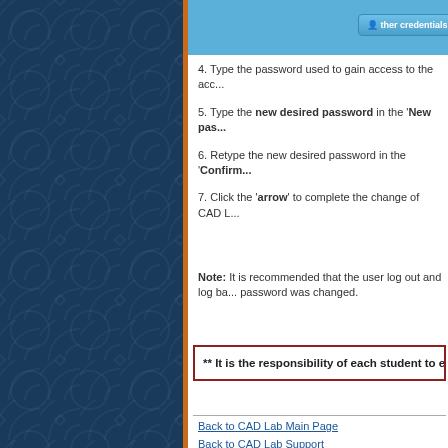[Figure (screenshot): Blue UI bar with 'other credentials' button partially visible at top]
4. Type the password used to gain access to the acc...
5. Type the new desired password in the 'New pas...
6. Retype the new desired password in the 'Confirm...
7. Click the 'arrow' to complete the change of CAD L...
Note: It is recommended that the user log out and log ba... password was changed.
** It is the responsibility of each student to e...
Back to CAD Lab Main Page
Back to CAD Lab Support